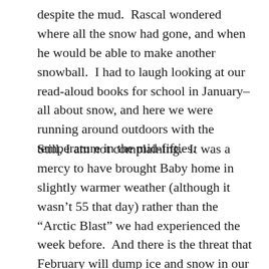despite the mud.  Rascal wondered where all the snow had gone, and when he would be able to make another snowball.  I had to laugh looking at our read-aloud books for school in January–all about snow, and here we were running around outdoors with the temperature in the mid-fifties.
Still, I am not complaining.  It was a mercy to have brought Baby home in slightly warmer weather (although it wasn't 55 that day) rather than the “Arctic Blast” we had experienced the week before.  And there is the threat that February will dump ice and snow in our neck of the woods, just as the crocuses and hyacinths begin to show their color, so a hint of Spring is pretty welcome.  There is a guinea buck in our